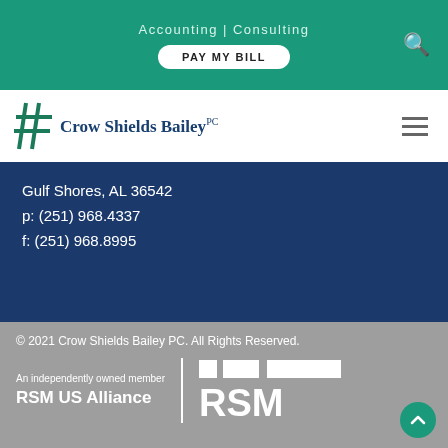Accounting | Consulting
[Figure (logo): Crow Shields Bailey PC logo with hash/pound symbol icon]
Gulf Shores, AL 36542
p: (251) 968.4337
f: (251) 968.8995
© 2021 Crow Shields Bailey PC. All Rights Reserved.
An independently owned member RSM US Alliance